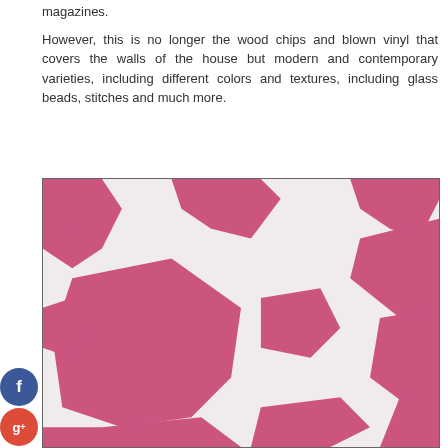magazines.
However, this is no longer the wood chips and blown vinyl that covers the walls of the house but modern and contemporary varieties, including different colors and textures, including glass beads, stitches and much more.
[Figure (photo): Close-up photo of a pink and white abstract patterned wallpaper or textile with organic blob-like shapes.]